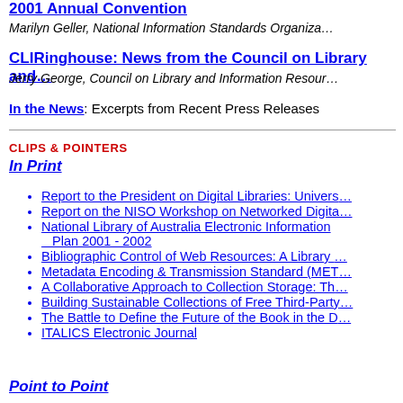2001 Annual Convention
Marilyn Geller, National Information Standards Organization
CLIRinghouse: News from the Council on Library and...
Jerry George, Council on Library and Information Resources
In the News: Excerpts from Recent Press Releases
CLIPS & POINTERS
In Print
Report to the President on Digital Libraries: Univers...
Report on the NISO Workshop on Networked Digita...
National Library of Australia Electronic Information Plan 2001 - 2002
Bibliographic Control of Web Resources: A Library...
Metadata Encoding & Transmission Standard (MET...
A Collaborative Approach to Collection Storage: Th...
Building Sustainable Collections of Free Third-Party...
The Battle to Define the Future of the Book in the D...
ITALICS Electronic Journal
Point to Point